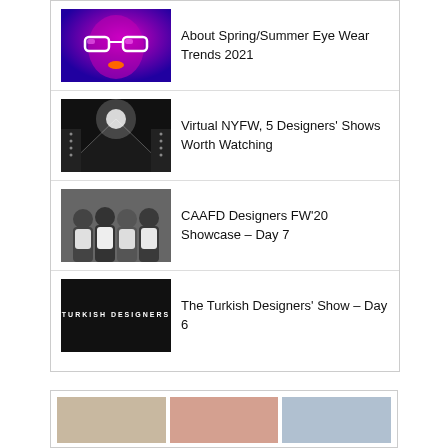About Spring/Summer Eye Wear Trends 2021
Virtual NYFW, 5 Designers' Shows Worth Watching
CAAFD Designers FW'20 Showcase – Day 7
The Turkish Designers' Show – Day 6
[Figure (screenshot): Bottom section showing three image thumbnails in a row]